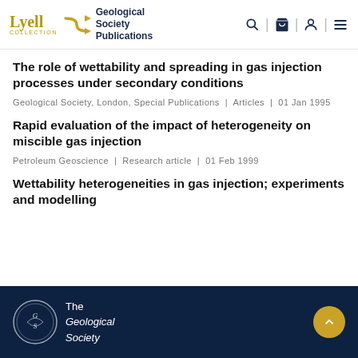Lyell Collection | Geological Society Publications
The role of wettability and spreading in gas injection processes under secondary conditions
Geological Society, London, Special Publications | Articles | 01 Jan 1995
Rapid evaluation of the impact of heterogeneity on miscible gas injection
Petroleum Geoscience | Research article | 01 Feb 1999
Wettability heterogeneities in gas injection; experiments and modelling
The Geological Society